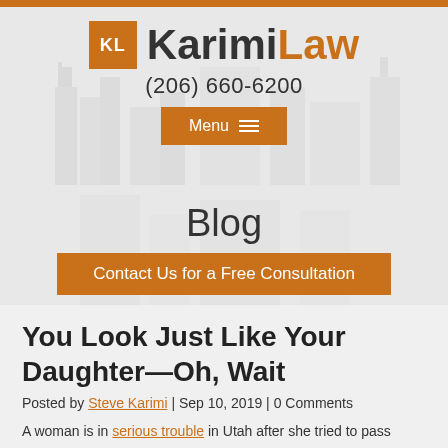[Figure (logo): KarimiLaw logo with orange KL square and orange/dark text]
(206) 660-6200
Menu
Blog
Contact Us for a Free Consultation
You Look Just Like Your Daughter—Oh, Wait
Posted by Steve Karimi | Sep 10, 2019 | 0 Comments
A woman is in serious trouble in Utah after she tried to pass